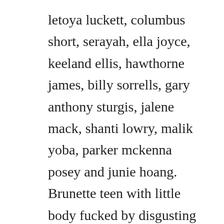letoya luckett, columbus short, serayah, ella joyce, keeland ellis, hawthorne james, billy sorrells, gary anthony sturgis, jalene mack, shanti lowry, malik yoba, parker mckenna posey and junie hoang. Brunette teen with little body fucked by disgusting ol. Red velvet is a fivemember south korean girl group formed by sm entertainment in 2014. As a man, you have probably already experienced random chat sites where you match with 90% of guys. Tons of free lucky girl porn videos and xxx movies are waiting for you on redtube. Whether youve already met larry the